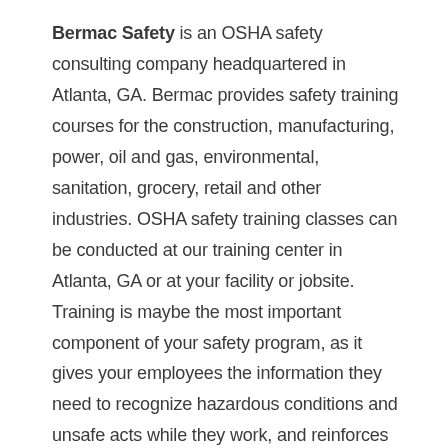Bermac Safety is an OSHA safety consulting company headquartered in Atlanta, GA. Bermac provides safety training courses for the construction, manufacturing, power, oil and gas, environmental, sanitation, grocery, retail and other industries. OSHA safety training classes can be conducted at our training center in Atlanta, GA or at your facility or jobsite. Training is maybe the most important component of your safety program, as it gives your employees the information they need to recognize hazardous conditions and unsafe acts while they work, and reinforces to them that safety is a priority at your company.